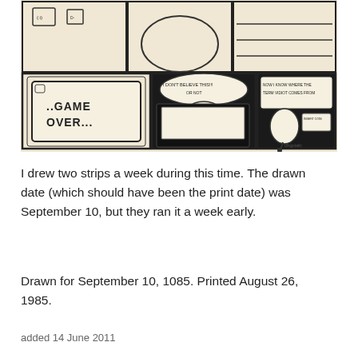[Figure (illustration): A comic strip with multiple panels showing a cartoon dog character. Panels include: top row with characters at arcade machines, bottom row showing '..Game Over...' screen, a character saying 'I DON'T BELIEVE THIS!!! OR NOT', and another panel saying 'NOW I KNOW WHERE THE TERM VIDIOT COMES FROM' with INSERT COIN sign. Signed by the artist.]
I drew two strips a week during this time. The drawn date (which should have been the print date) was September 10, but they ran it a week early.
Drawn for September 10, 1085. Printed August 26, 1985.
added 14 June 2011